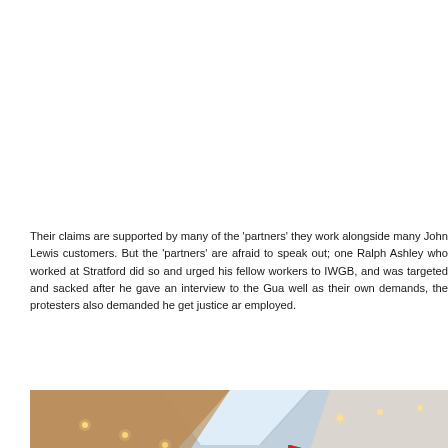Their claims are supported by many of the 'partners' they work alongside many John Lewis customers. But the 'partners' are afraid to speak out; one Ralph Ashley who worked at Stratford did so and urged his fellow workers to IWGB, and was targeted and sacked after he gave an interview to the Gua well as their own demands, the protesters also demanded he get justice ar employed.
[Figure (photo): Protesters on escalators inside a John Lewis store (appears to be Stratford). People are descending escalators carrying red flags and banners. The interior shows a modern retail space with a high ceiling, skylight, recessed lighting, and glass railings. A group of protesters with a red flag and banners including partially visible text 'EAD' are visible on the escalators. Additional onlookers are visible on the upper mezzanine level.]